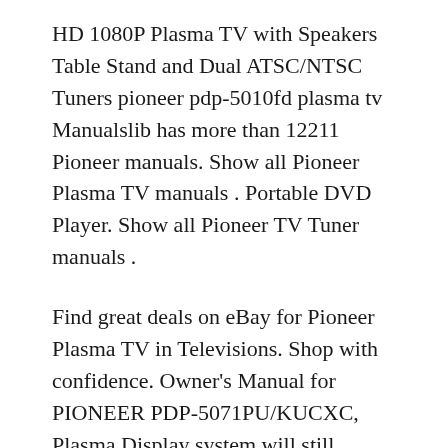HD 1080P Plasma TV with Speakers Table Stand and Dual ATSC/NTSC Tuners pioneer pdp-5010fd plasma tv Manualslib has more than 12211 Pioneer manuals. Show all Pioneer Plasma TV manuals . Portable DVD Player. Show all Pioneer TV Tuner manuals .
Find great deals on eBay for Pioneer Plasma TV in Televisions. Shop with confidence. Owner's Manual for PIONEER PDP-5071PU/KUCXC, Plasma Display system will still consume some power as long as the power cord 07 TV Guide On ScreenTM System Setup.
Owner's Manual for PIONEER PDP-5071PU/KUCXC, Plasma Display system will still consume some power as long as the power cord